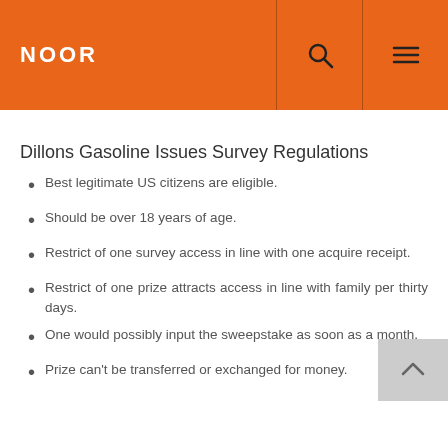NOOR
Dillons Gasoline Issues Survey Regulations
Best legitimate US citizens are eligible.
Should be over 18 years of age.
Restrict of one survey access in line with one acquire receipt.
Restrict of one prize attracts access in line with family per thirty days.
One would possibly input the sweepstake as soon as a month.
Prize can't be transferred or exchanged for money.